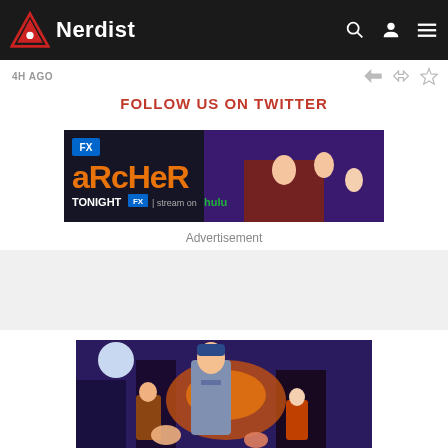Nerdist
4H AGO
FOLLOW US ON TWITTER
[Figure (photo): Archer FX animated show advertisement banner — TONIGHT FX | stream on hulu]
Advertisement
[Figure (illustration): Archer animated comic-style illustration showing main character in spy suit with other characters in action scene with colorful background]